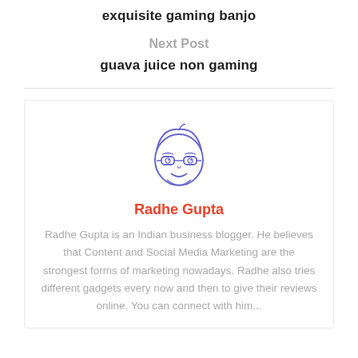exquisite gaming banjo
Next Post
guava juice non gaming
[Figure (illustration): Cartoon avatar of a person with glasses and a cap, drawn in a sketchy purple/indigo line style, circular portrait]
Radhe Gupta
Radhe Gupta is an Indian business blogger. He believes that Content and Social Media Marketing are the strongest forms of marketing nowadays. Radhe also tries different gadgets every now and then to give their reviews online. You can connect with him...